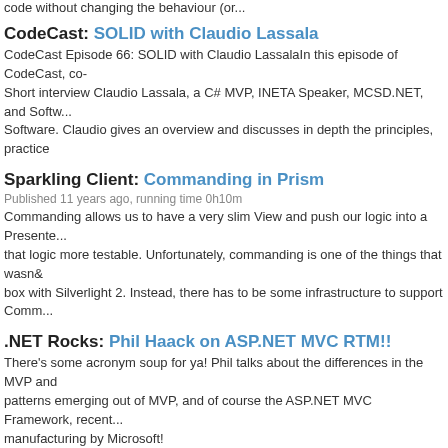code without changing the behaviour (or...
CodeCast: SOLID with Claudio Lassala
CodeCast Episode 66: SOLID with Claudio LassalaIn this episode of CodeCast, co- Short interview Claudio Lassala, a C# MVP, INETA Speaker, MCSD.NET, and Softw... Software. Claudio gives an overview and discusses in depth the principles, practice
Sparkling Client: Commanding in Prism
Published 11 years ago, running time 0h10m
Commanding allows us to have a very slim View and push our logic into a Presente... that logic more testable. Unfortunately, commanding is one of the things that wasn& box with Silverlight 2. Instead, there has to be some infrastructure to support Comm...
.NET Rocks: Phil Haack on ASP.NET MVC RTM!!
There's some acronym soup for ya! Phil talks about the differences in the MVP and patterns emerging out of MVP, and of course the ASP.NET MVC Framework, recent... manufacturing by Microsoft!
GoingDeep: aestro: A Managed Domain Specific Language f... Programming
Josh Phillips(PM), Niklas Gustafsson(Architect), and Artur Laksberg(Developer) of t... Platform Team spend some time with me to discuss a managed (.NET-based) DSL ... Language) for concurrent programming, Maestro. Maestro incorporates well-entren...
OnMicrosoft from InformIT: Framework Design Guidelines: C Idioms, and Patterns for Reusable .NET Libraries
Brad Abrams and Krzysztof Cwalina discuss the 2e of "Framework Design Guidelin... for .NET developers and architects designing class library frameworks--updated for ... of the .NET Framework 3.0 and 3.5.
OnMicrosoft from InformIT: Framework Design Guidelines: C Idioms, and Patterns for Reusable .NET Libraries